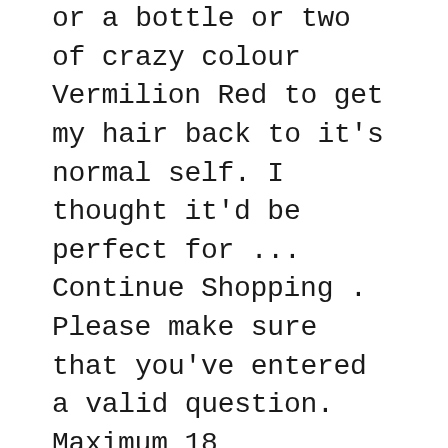or a bottle or two of crazy colour Vermilion Red to get my hair back to it's normal self. I thought it'd be perfect for ... Continue Shopping . Please make sure that you've entered a valid question. Maximum 18 promotional items per customer. This page works best with JavaScript. John Frieda claims that both the shampoo and conditioner contain technology that targets the most damaged, fade-prone areas. Schwarzkopf Professional Live Intense Colours Permanent / Semi Hair Dye . Has anybody used Schwarzkopf Live Luminance in Radiant Red? 3.6 5 reviews. Schwarzkopf Live Colour + Lift L75 Deep Red Permanent Hair Dye (10)Leave a review. Für dein Markenzeichen hast du mit LIVE Ultra Brights die Wahl: lass deine Haare in elektrisierenden Farben erstrahlen oder mische die LIVE Color-Creme mit dem beigelegten Pflege-Conditioner für zarte